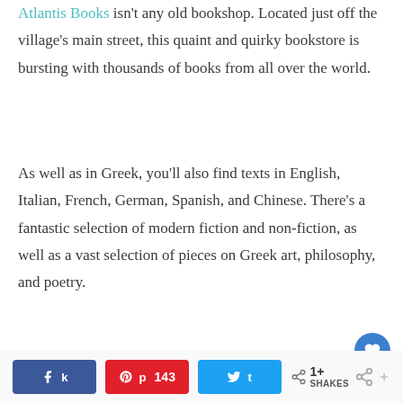Atlantis Books isn't any old bookshop. Located just off the village's main street, this quaint and quirky bookstore is bursting with thousands of books from all over the world.
As well as in Greek, you'll also find texts in English, Italian, French, German, Spanish, and Chinese. There's a fantastic selection of modern fiction and non-fiction, as well as a vast selection of pieces on Greek art, philosophy, and poetry.